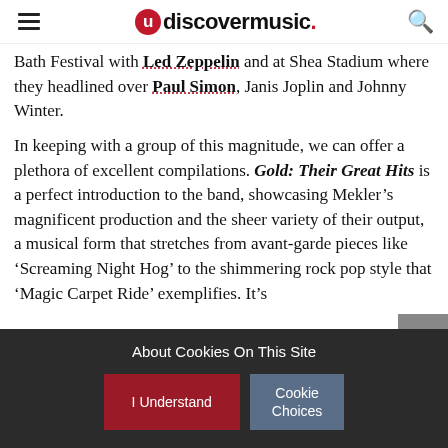udiscovermusic.
Bath Festival with Led Zeppelin and at Shea Stadium where they headlined over Paul Simon, Janis Joplin and Johnny Winter.
In keeping with a group of this magnitude, we can offer a plethora of excellent compilations. Gold: Their Great Hits is a perfect introduction to the band, showcasing Mekler’s magnificent production and the sheer variety of their output, a musical form that stretches from avant-garde pieces like ‘Screaming Night Hog’ to the shimmering rock pop style that ‘Magic Carpet Ride’ exemplifies. It’s
About Cookies On This Site
I Understand
Cookie Choices